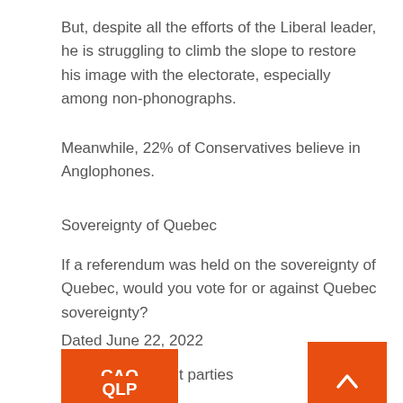But, despite all the efforts of the Liberal leader, he is struggling to climb the slope to restore his image with the electorate, especially among non-phonographs.
Meanwhile, 22% of Conservatives believe in Anglophones.
Sovereignty of Quebec
If a referendum was held on the sovereignty of Quebec, would you vote for or against Quebec sovereignty?
Dated June 22, 2022
Compare different parties
[Figure (other): Orange button labeled CAQ]
[Figure (other): Orange button labeled QLP]
[Figure (other): Orange scroll-to-top button with chevron arrow icon]